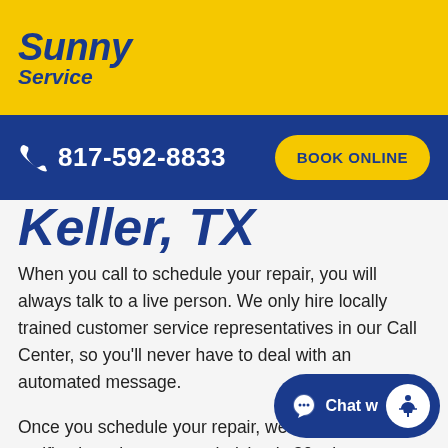[Figure (logo): Sunny Service company logo with blue italic text on yellow background]
817-592-8833  BOOK ONLINE
Keller, TX
When you call to schedule your repair, you will always talk to a live person. We only hire locally trained customer service representatives in our Call Center, so you'll never have to deal with an automated message.
Once you schedule your repair, we'll send you a notification when your technician is 30 minutes away. We know your time is valuable, so with our notification system, you'll know exactly when we're on